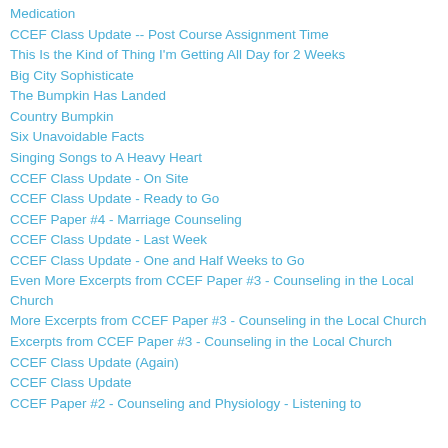Medication
CCEF Class Update -- Post Course Assignment Time
This Is the Kind of Thing I'm Getting All Day for 2 Weeks
Big City Sophisticate
The Bumpkin Has Landed
Country Bumpkin
Six Unavoidable Facts
Singing Songs to A Heavy Heart
CCEF Class Update - On Site
CCEF Class Update - Ready to Go
CCEF Paper #4 - Marriage Counseling
CCEF Class Update - Last Week
CCEF Class Update - One and Half Weeks to Go
Even More Excerpts from CCEF Paper #3 - Counseling in the Local Church
More Excerpts from CCEF Paper #3 - Counseling in the Local Church
Excerpts from CCEF Paper #3 - Counseling in the Local Church
CCEF Class Update (Again)
CCEF Class Update
CCEF Paper #2 - Counseling and Physiology - Listening to